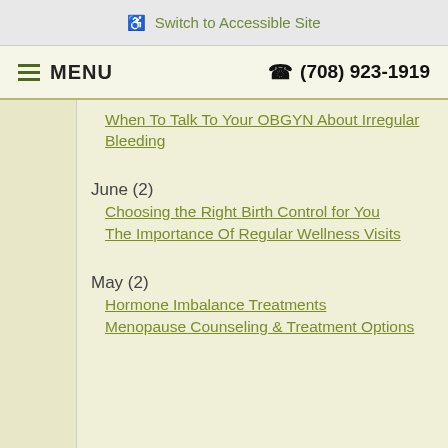Switch to Accessible Site
MENU  (708) 923-1919
When To Talk To Your OBGYN About Irregular Bleeding
June (2)
Choosing the Right Birth Control for You
The Importance Of Regular Wellness Visits
May (2)
Hormone Imbalance Treatments
Menopause Counseling & Treatment Options